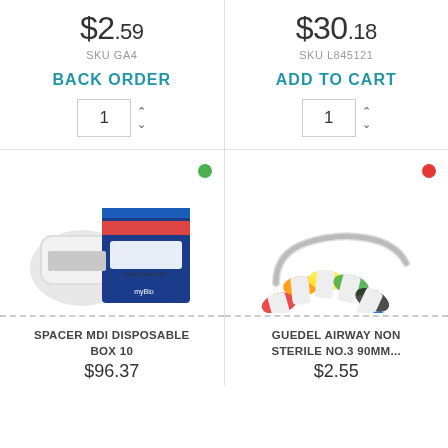$2.59
SKU GA4
BACK ORDER
1
$30.18
SKU L845121
ADD TO CART
1
[Figure (photo): Spacer MDI disposable cardboard spacer device box and bag packaging, blue and white]
[Figure (photo): Guedel airway non sterile assorted sizes arranged in a row showing color coded connectors]
SPACER MDI DISPOSABLE BOX 10
$96.37
GUEDEL AIRWAY NON STERILE No.3 90mm...
$2.55